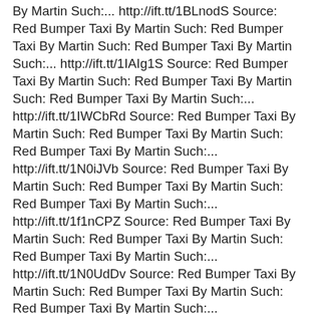By Martin Such:... http://ift.tt/1BLnodS Source: Red Bumper Taxi By Martin Such: Red Bumper Taxi By Martin Such: Red Bumper Taxi By Martin Such:... http://ift.tt/1IAIg1S Source: Red Bumper Taxi By Martin Such: Red Bumper Taxi By Martin Such: Red Bumper Taxi By Martin Such:... http://ift.tt/1IWCbRd Source: Red Bumper Taxi By Martin Such: Red Bumper Taxi By Martin Such: Red Bumper Taxi By Martin Such:... http://ift.tt/1N0iJVb Source: Red Bumper Taxi By Martin Such: Red Bumper Taxi By Martin Such: Red Bumper Taxi By Martin Such:... http://ift.tt/1f1nCPZ Source: Red Bumper Taxi By Martin Such: Red Bumper Taxi By Martin Such: Red Bumper Taxi By Martin Such:... http://ift.tt/1N0UdDv Source: Red Bumper Taxi By Martin Such: Red Bumper Taxi By Martin Such: Red Bumper Taxi By Martin Such:... http://ift.tt/1J4ooK3 Source: Red Bumper Taxi By Martin Such: Red Bumper Taxi By Martin Such: Red Bumper Taxi By Martin Such:... http://ift.tt/1NjXHPu Source: Red Bumper Taxi By Martin Such: Red Bumper Taxi By Martin Such: Red Bumper Taxi By Martin Such:... http://ift.tt/1TaRAUC Source: Red Bumper Taxi By Martin Such: Red Bumper Taxi By Martin Such: Red Bumper Taxi By Martin Such:... http://ift.tt/1gVyCAm Source: Red Bumper Taxi By Martin Such: Red Bumper Taxi By Martin Such: Red